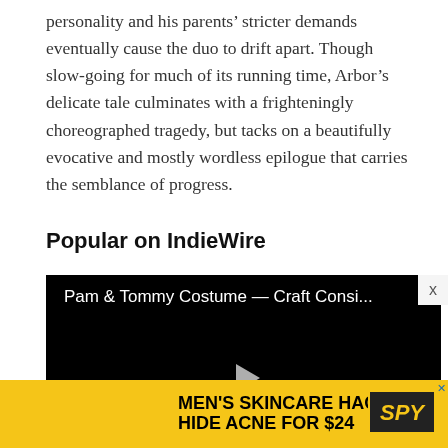personality and his parents' stricter demands eventually cause the duo to drift apart. Though slow-going for much of its running time, Arbor's delicate tale culminates with a frighteningly choreographed tragedy, but tacks on a beautifully evocative and mostly wordless epilogue that carries the semblance of progress.
Popular on IndieWire
[Figure (screenshot): Video player with black background showing title 'Pam & Tommy Costume — Craft Consi...' and a play button in the center]
[Figure (infographic): Advertisement banner: MEN'S SKINCARE HACK HIDE ACNE FOR $24 with SPY logo on yellow background]